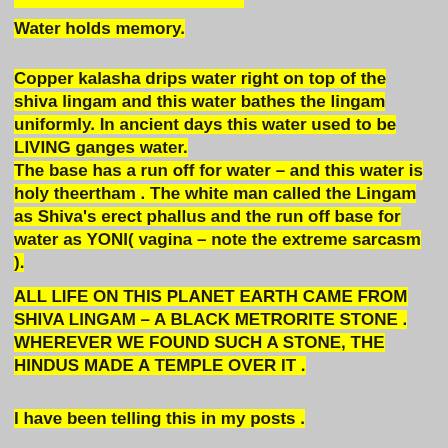Water holds memory.
Copper kalasha drips water right on top of the shiva lingam and this water bathes the lingam uniformly. In ancient days this water used to be LIVING ganges water.
The base has a run off for water – and this water is holy theertham . The white man called the Lingam as Shiva's erect phallus and the run off base for water as YONI( vagina – note the extreme sarcasm ).
ALL LIFE ON THIS PLANET EARTH CAME FROM SHIVA LINGAM – A BLACK METRORITE STONE . WHEREVER WE FOUND SUCH A STONE, THE HINDUS MADE A TEMPLE OVER IT .
I have been telling this in my posts .